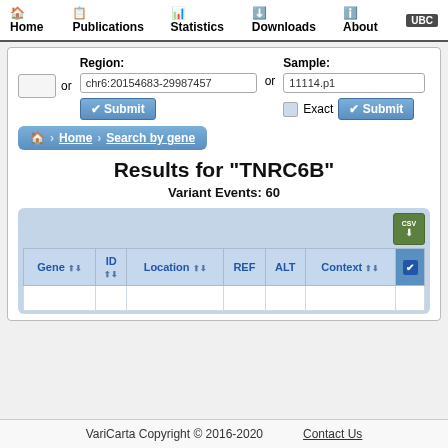Home  Publications  Statistics  Downloads  About
[Figure (screenshot): Search form with Region input (chr6:20154683-29987457) and Sample input (11114.p1) with Submit buttons and Exact checkbox]
Home › Search by gene
Results for "TNRC6B"
Variant Events: 60
| Gene | ID | Location | REF | ALT | Context |  |
| --- | --- | --- | --- | --- | --- | --- |
|  |  |  |  |  |  |  |
VariCarta Copyright © 2016-2020    Contact Us